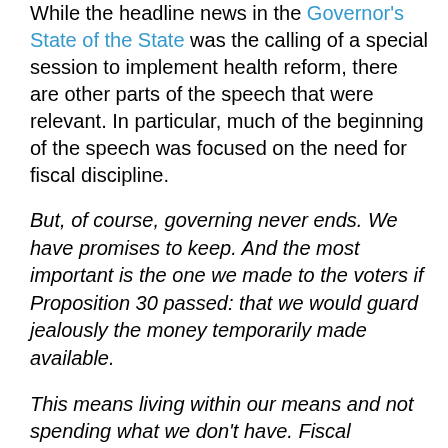While the headline news in the Governor's State of the State was the calling of a special session to implement health reform, there are other parts of the speech that were relevant. In particular, much of the beginning of the speech was focused on the need for fiscal discipline.
But, of course, governing never ends. We have promises to keep. And the most important is the one we made to the voters if Proposition 30 passed: that we would guard jealously the money temporarily made available.
This means living within our means and not spending what we don't have. Fiscal discipline is not the enemy of our good intentions but the basis for